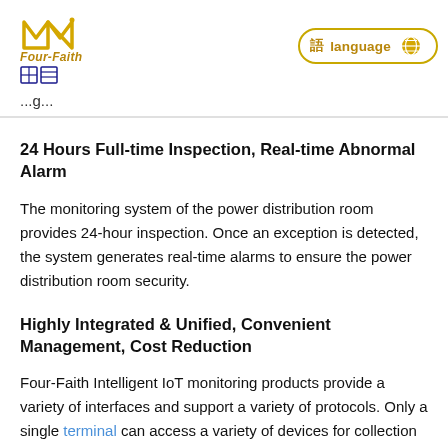Four-Faith | Language
24 Hours Full-time Inspection, Real-time Abnormal Alarm
The monitoring system of the power distribution room provides 24-hour inspection. Once an exception is detected, the system generates real-time alarms to ensure the power distribution room security.
Highly Integrated & Unified, Convenient Management, Cost Reduction
Four-Faith Intelligent IoT monitoring products provide a variety of interfaces and support a variety of protocols. Only a single terminal can access a variety of devices for collection linkage, greatly reducing the cost of deployment and maintenance, and the unified